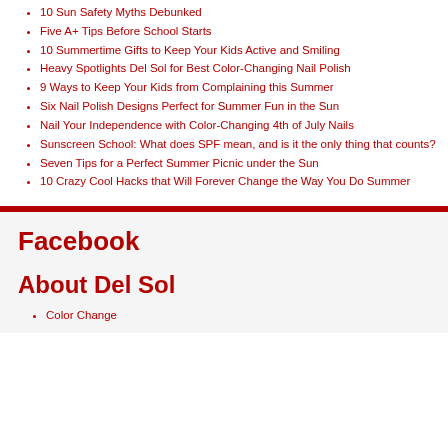10 Sun Safety Myths Debunked
Five A+ Tips Before School Starts
10 Summertime Gifts to Keep Your Kids Active and Smiling
Heavy Spotlights Del Sol for Best Color-Changing Nail Polish
9 Ways to Keep Your Kids from Complaining this Summer
Six Nail Polish Designs Perfect for Summer Fun in the Sun
Nail Your Independence with Color-Changing 4th of July Nails
Sunscreen School: What does SPF mean, and is it the only thing that counts?
Seven Tips for a Perfect Summer Picnic under the Sun
10 Crazy Cool Hacks that Will Forever Change the Way You Do Summer
Facebook
About Del Sol
Color Change